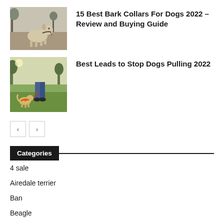[Figure (photo): Dog barking outdoors, wearing a collar]
15 Best Bark Collars For Dogs 2022 – Review and Buying Guide
[Figure (photo): Person walking a dog on a lead in a park, dog wearing an orange harness]
Best Leads to Stop Dogs Pulling 2022
Categories
4 sale
Airedale terrier
Ban
Beagle